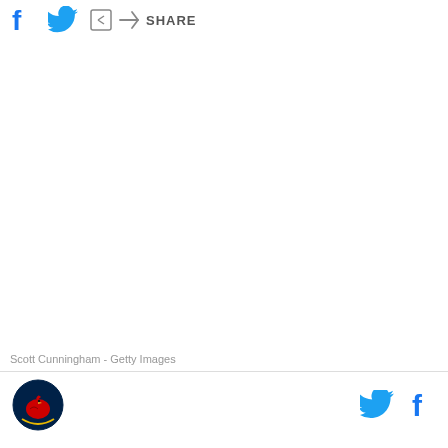SHARE
[Figure (photo): Large white/blank image area representing a photo placeholder]
Scott Cunningham - Getty Images
Footer with Cardinals logo on left and Twitter/Facebook icons on right